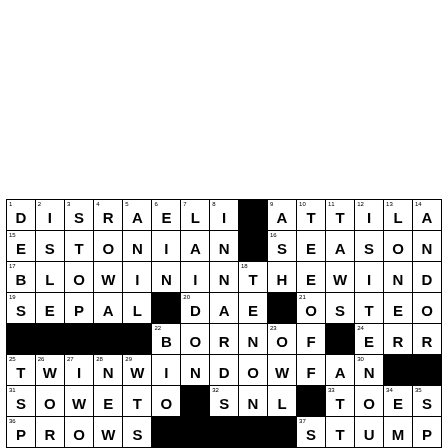[Figure (other): Crossword puzzle grid (partial, bottom half visible). Filled answers include: Row 1: DISRAELI, ATTILA; Row 2: ESTONIAN, SEASON; Row 3: BLOWINTHEWIND; Row 4: SEPAL, DAE, OSTEO; Row 5: (black), BORNOF, ERR; Row 6: TWINWINDOWFAN; Row 7: SOWETO, SNL, TOES; Row 8: PROWS, STUMP. Black squares in various positions.]